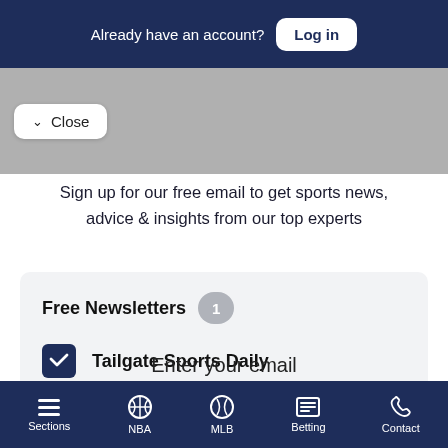Already have an account? Log in
Close
Sign up for our free email to get sports news, advice & insights from our top experts
Free Newsletters 1
Tailgate Sports Daily
Sections | NBA | MLB | Betting | Contact